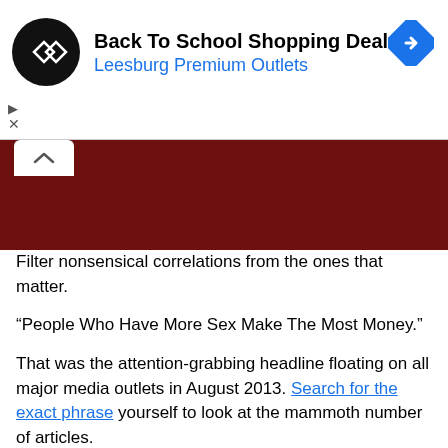[Figure (screenshot): Advertisement banner for Back To School Shopping Deals at Leesburg Premium Outlets, with circular black logo and blue navigation arrow icon]
[Figure (photo): Dark red/maroon image strip with a white tab/arrow pointing up on the left side]
Filter nonsensical correlations from the ones that matter.
“People Who Have More Sex Make The Most Money.”
That was the attention-grabbing headline floating on all major media outlets in August 2013. Search for the exact phrase yourself to look at the mammoth number of articles.
Obviously, people went crazy. And the articles garnered tremendous attention with thousands of views and comments. The articles said, that people who have sex more than 4 times/week take home a 3.2% higher income than those that have sex once a week.
If only it were that simple…